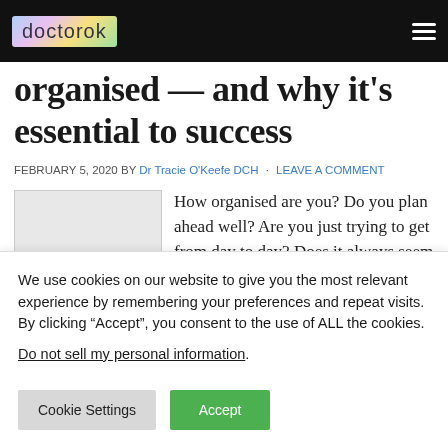doctorok — navigation bar
organised — and why it's essential to success
FEBRUARY 5, 2020 BY Dr Tracie O'Keefe DCH · LEAVE A COMMENT
[Figure (photo): Placeholder image for article thumbnail]
How organised are you? Do you plan ahead well? Are you just trying to get from day to day? Does it always seem as if
We use cookies on our website to give you the most relevant experience by remembering your preferences and repeat visits. By clicking “Accept”, you consent to the use of ALL the cookies.
Do not sell my personal information.